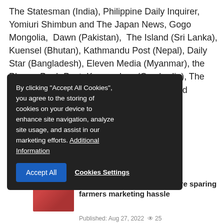The Statesman (India), Philippine Daily Inquirer, Yomiuri Shimbun and The Japan News, Gogo Mongolia, Dawn (Pakistan), The Island (Sri Lanka), Kuensel (Bhutan), Kathmandu Post (Nepal), Daily Star (Bangladesh), Eleven Media (Myanmar), the Phnom Penh Post, Kampuchea (Cambodia), The Borneo Bulletin (Brunei), Vietnam News, and Vientiane Times (Laos).
[Figure (screenshot): Cookie consent overlay popup with dark background: 'By clicking Accept All Cookies, you agree to the storing of cookies on your device to enhance site navigation, analyze site usage, and assist in our marketing efforts. Additional Information' with Accept All button and Cookies Settings link.]
How barter stores in Nepal are sparing farmers marketing hassle
Published: Aug 27, 2022  25
[Figure (screenshot): Kynix advertisement banner: Kynix Integrated Circuits Supplier with Get Quote orange button.]